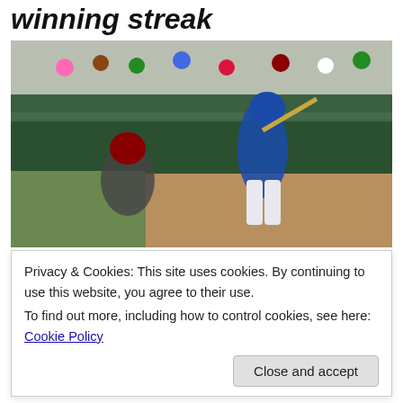winning streak
[Figure (photo): Baseball player in blue Cubs uniform mid-swing at home plate, catcher in dark gear crouching behind, fans in stands in background, minor league ballpark setting]
Privacy & Cookies: This site uses cookies. By continuing to use this website, you agree to their use.
To find out more, including how to control cookies, see here: Cookie Policy
Close and accept
Ian Rice as they swept a Saturday doubleheader against